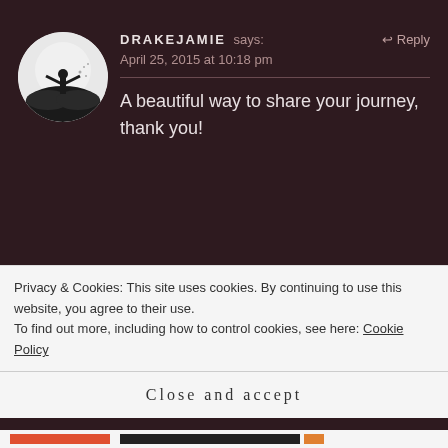DRAKEJAMIE says: April 25, 2015 at 10:18 pm
A beautiful way to share your journey, thank you!
ASECONDGO says:
Privacy & Cookies: This site uses cookies. By continuing to use this website, you agree to their use. To find out more, including how to control cookies, see here: Cookie Policy
Close and accept